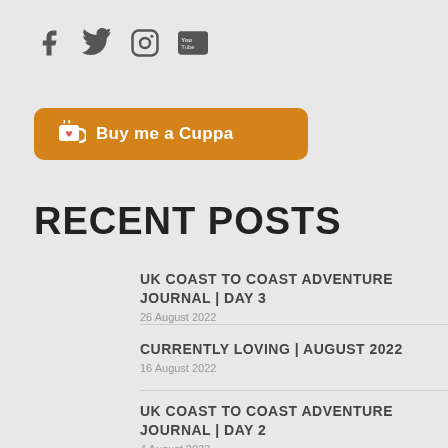[Figure (infographic): Social media icons: Facebook, Twitter, Instagram, YouTube]
[Figure (infographic): Orange 'Buy me a Cuppa' button with cup icon]
RECENT POSTS
UK COAST TO COAST ADVENTURE JOURNAL | Day 3
26 August 2022
CURRENTLY LOVING | AUGUST 2022
16 August 2022
UK COAST TO COAST ADVENTURE JOURNAL | Day 2
4 August 2022